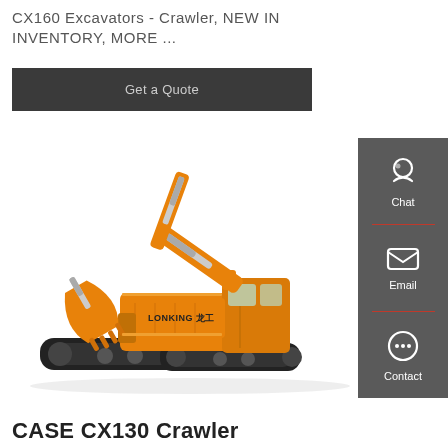CX160 Excavators - Crawler, NEW IN INVENTORY, MORE ...
Get a Quote
[Figure (photo): Lonking orange crawler excavator photographed on white background, side view showing full machine with boom, arm, bucket, and undercarriage tracks]
CASE CX130 Crawler